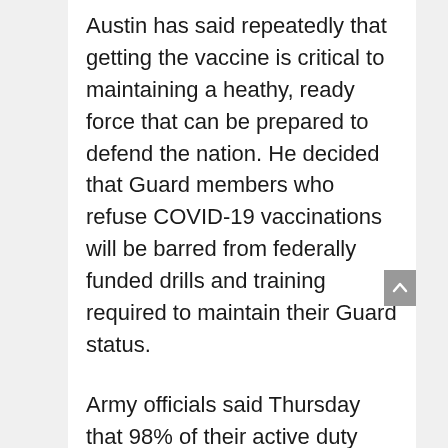Austin has said repeatedly that getting the vaccine is critical to maintaining a heathy, ready force that can be prepared to defend the nation. He decided that Guard members who refuse COVID-19 vaccinations will be barred from federally funded drills and training required to maintain their Guard status.
Army officials said Thursday that 98% of their active duty force had received at least one dose of the mandatory coronavirus vaccine.
Thousands of members of the military